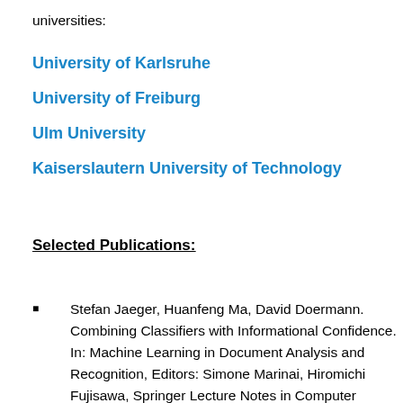universities:
University of Karlsruhe
University of Freiburg
Ulm University
Kaiserslautern University of Technology
Selected Publications:
Stefan Jaeger, Huanfeng Ma, David Doermann. Combining Classifiers with Informational Confidence. In: Machine Learning in Document Analysis and Recognition, Editors: Simone Marinai, Hiromichi Fujisawa, Springer Lecture Notes in Computer Science, 2008.